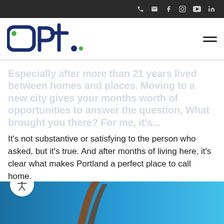Social media icons: phone, email, facebook, instagram, youtube, linkedin
[Figure (logo): Opt. company logo in dark navy blue with green dots]
Especially after more than 21 years lived between homes and places. Moving to a new city gives your months worth of opportunities to answer the question, What brought you there? For me, it's...
It's not substantive or satisfying to the person who asked, but it's true. And after months of living here, it's clear what makes Portland a perfect place to call home.
[Figure (photo): Blue sky with curved architectural element visible at bottom of page]